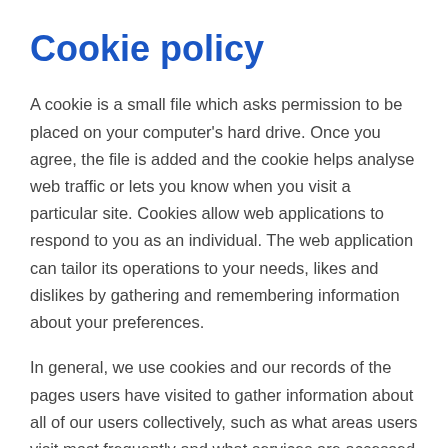Cookie policy
A cookie is a small file which asks permission to be placed on your computer's hard drive. Once you agree, the file is added and the cookie helps analyse web traffic or lets you know when you visit a particular site. Cookies allow web applications to respond to you as an individual. The web application can tailor its operations to your needs, likes and dislikes by gathering and remembering information about your preferences.
In general, we use cookies and our records of the pages users have visited to gather information about all of our users collectively, such as what areas users visit most frequently and what services are accessed most. We only use such data in the aggregate. This information